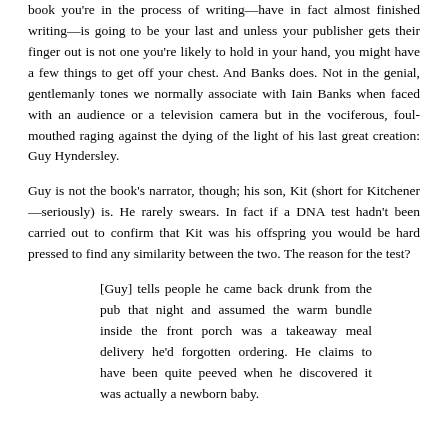book you're in the process of writing—have in fact almost finished writing—is going to be your last and unless your publisher gets their finger out is not one you're likely to hold in your hand, you might have a few things to get off your chest. And Banks does. Not in the genial, gentlemanly tones we normally associate with Iain Banks when faced with an audience or a television camera but in the vociferous, foul-mouthed raging against the dying of the light of his last great creation: Guy Hyndersley.
Guy is not the book's narrator, though; his son, Kit (short for Kitchener—seriously) is. He rarely swears. In fact if a DNA test hadn't been carried out to confirm that Kit was his offspring you would be hard pressed to find any similarity between the two. The reason for the test?
[Guy] tells people he came back drunk from the pub that night and assumed the warm bundle inside the front porch was a takeaway meal delivery he'd forgotten ordering. He claims to have been quite peeved when he discovered it was actually a newborn baby.